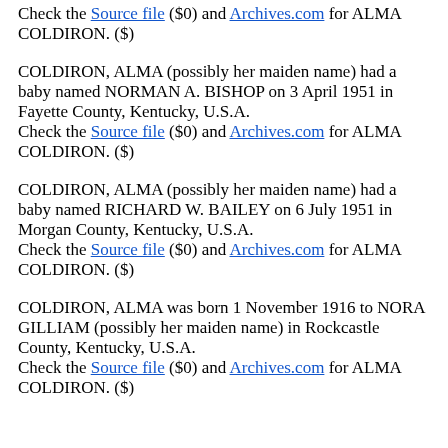Check the Source file ($0) and Archives.com for ALMA COLDIRON. ($)
COLDIRON, ALMA (possibly her maiden name) had a baby named NORMAN A. BISHOP on 3 April 1951 in Fayette County, Kentucky, U.S.A.
Check the Source file ($0) and Archives.com for ALMA COLDIRON. ($)
COLDIRON, ALMA (possibly her maiden name) had a baby named RICHARD W. BAILEY on 6 July 1951 in Morgan County, Kentucky, U.S.A.
Check the Source file ($0) and Archives.com for ALMA COLDIRON. ($)
COLDIRON, ALMA was born 1 November 1916 to NORA GILLIAM (possibly her maiden name) in Rockcastle County, Kentucky, U.S.A.
Check the Source file ($0) and Archives.com for ALMA COLDIRON. ($)